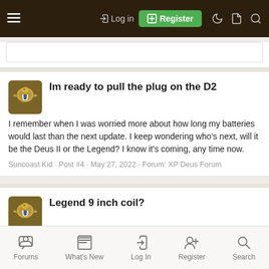Log in | Register
Im ready to pull the plug on the D2
I remember when I was worried more about how long my batteries would last than the next update. I keep wondering who's next, will it be the Deus II or the Legend? I know it's coming, any time now.
Suncoast Kid · Post #4 · May 27, 2022 · Forum: XP Deus Forum
Legend 9 inch coil?
They do have the bigger coil out now but I'd like one between the 6" and the 11".
Suncoast Kid · Post #3 · May 21, 2022 · Forum: Nokta "Legend" Forum
Forums | What's New | Log In | Register | Search